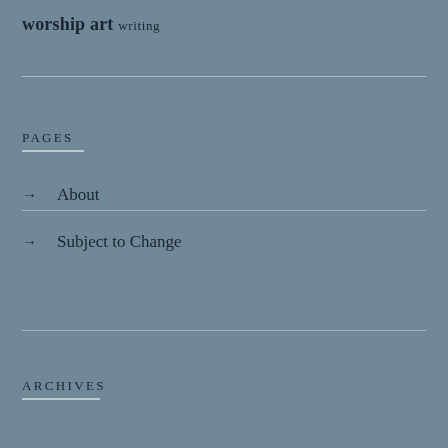worship art writing
PAGES
→ About
→ Subject to Change
ARCHIVES